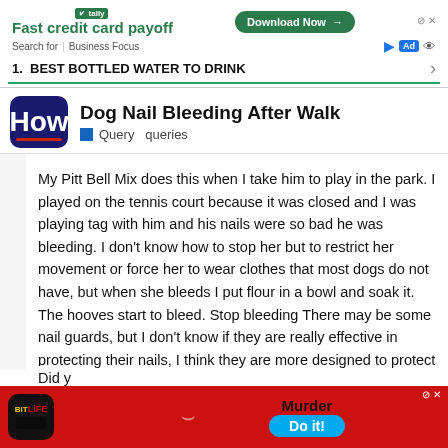[Figure (screenshot): Tally advertisement banner: Fast credit card payoff, Download Now button, search bar with Business Focus, Ad badge, Best Bottled Water To Drink listing]
Dog Nail Bleeding After Walk
Query   queries
My Pitt Bell Mix does this when I take him to play in the park. I played on the tennis court because it was closed and I was playing tag with him and his nails were so bad he was bleeding. I don't know how to stop her but to restrict her movement or force her to wear clothes that most dogs do not have, but when she bleeds I put flour in a bowl and soak it. The hooves start to bleed. Stop bleeding There may be some nail guards, but I don't know if they are really effective in protecting their nails, I think they are more designed to protect people from scratches.
Did y
[Figure (screenshot): BitLife app advertisement banner with Murder Do it! call to action button]